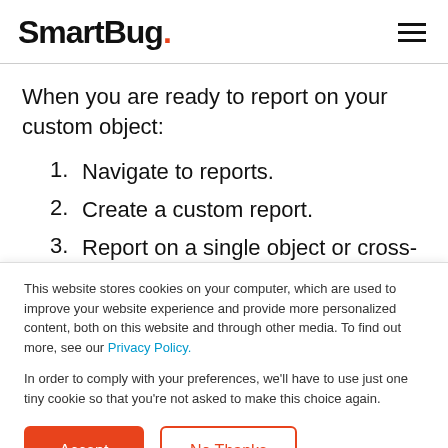SmartBug.
When you are ready to report on your custom object:
1. Navigate to reports.
2. Create a custom report.
3. Report on a single object or cross-
This website stores cookies on your computer, which are used to improve your website experience and provide more personalized content, both on this website and through other media. To find out more, see our Privacy Policy.
In order to comply with your preferences, we'll have to use just one tiny cookie so that you're not asked to make this choice again.